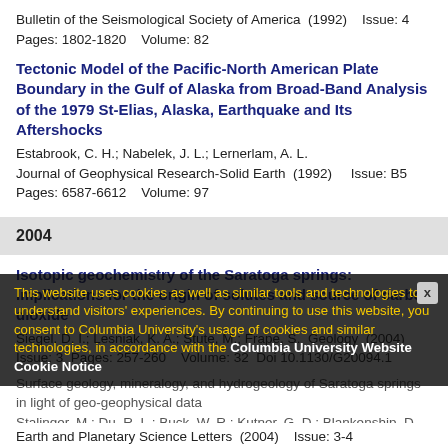Bulletin of the Seismological Society of America  (1992)    Issue: 4
Pages: 1802-1820    Volume: 82
Tectonic Model of the Pacific-North American Plate Boundary in the Gulf of Alaska from Broad-Band Analysis of the 1979 St-Elias, Alaska, Earthquake and Its Aftershocks
Estabrook, C. H.; Nabelek, J. L.; Lernerlam, A. L.
Journal of Geophysical Research-Solid Earth  (1992)    Issue: B5
Pages: 6587-6612    Volume: 97
2004
Isotopic geochemistry of the Saratoga springs: Implications for the origin of solutes and source of carbon dioxide
Siegel, D. I.; Lesniak, K. A.; Stute, M.; Frape, S.  Geology  (2004)
Issue: 3  Pages: 257-260    Volume: 32  Doi 10.1130/G20094.1
Surface geology, mineralogy, and hydrogeology of Saratoga springs in light of geo-geophysical data
Stalinger, M.; Du, R. L.; Buck, W. R.; Kutner, G. D.; Blankenship, D. D.
Earth and Planetary Science Letters  (2004)   Issue: 3-4